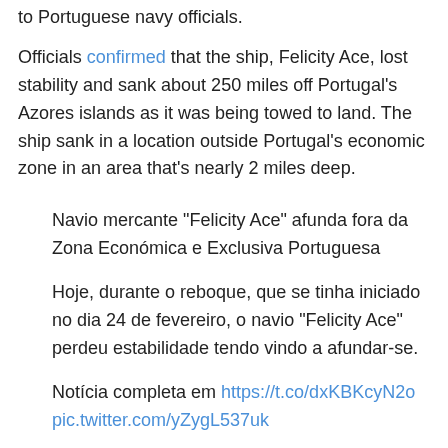to Portuguese navy officials.
Officials confirmed that the ship, Felicity Ace, lost stability and sank about 250 miles off Portugal's Azores islands as it was being towed to land. The ship sank in a location outside Portugal's economic zone in an area that's nearly 2 miles deep.
Navio mercante "Felicity Ace" afunda fora da Zona Económica e Exclusiva Portuguesa
Hoje, durante o reboque, que se tinha iniciado no dia 24 de fevereiro, o navio "Felicity Ace" perdeu estabilidade tendo vindo a afundar-se.
Notícia completa em https://t.co/dxKBKcyN2o pic.twitter.com/yZygL537uk